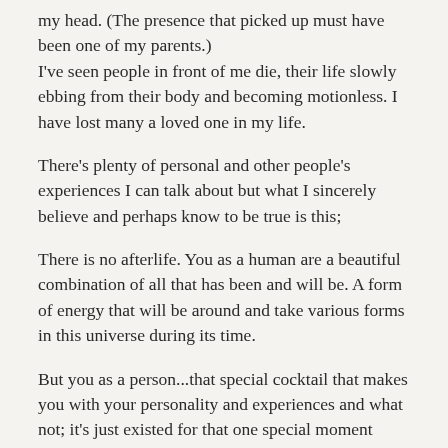my head. (The presence that picked up must have been one of my parents.) I've seen people in front of me die, their life slowly ebbing from their body and becoming motionless. I have lost many a loved one in my life.
There's plenty of personal and other people's experiences I can talk about but what I sincerely believe and perhaps know to be true is this;
There is no afterlife. You as a human are a beautiful combination of all that has been and will be. A form of energy that will be around and take various forms in this universe during its time.
But you as a person...that special cocktail that makes you with your personality and experiences and what not; it's just existed for that one special moment during your time here and then